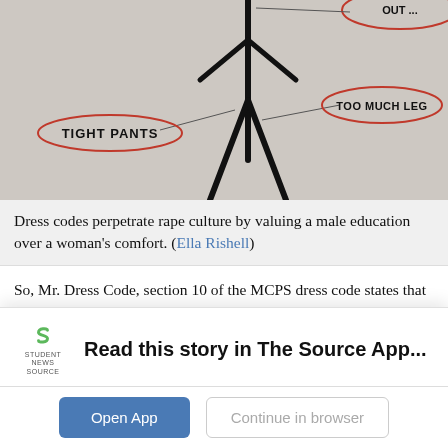[Figure (photo): A hand-drawn stick figure diagram on paper showing a person with annotations in red pen circles: 'TIGHT PANTS' pointing to the midsection/legs area, 'TOO MUCH LEG' pointing to the lower legs, and a partially visible circle at top right.]
Dress codes perpetrate rape culture by valuing a male education over a woman's comfort. (Ella Rishell)
So, Mr. Dress Code, section 10 of the MCPS dress code states that tops and sleeveless shirts must be three fingers wide for just female students, not everyone.
Mr. Dress Code, section six of the MCPS dress code also states that rips in jeans above the fingertips that expose skin are not
Read this story in The Source App...
Open App   Continue in browser